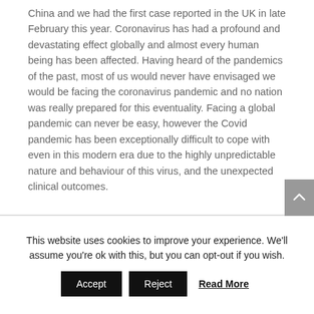China and we had the first case reported in the UK in late February this year. Coronavirus has had a profound and devastating effect globally and almost every human being has been affected. Having heard of the pandemics of the past, most of us would never have envisaged we would be facing the coronavirus pandemic and no nation was really prepared for this eventuality. Facing a global pandemic can never be easy, however the Covid pandemic has been exceptionally difficult to cope with even in this modern era due to the highly unpredictable nature and behaviour of this virus, and the unexpected clinical outcomes.
This website uses cookies to improve your experience. We'll assume you're ok with this, but you can opt-out if you wish.
Accept  Reject  Read More